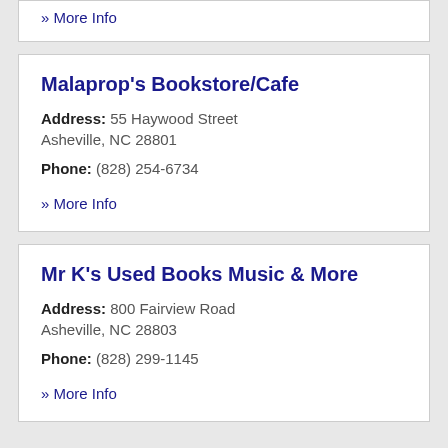» More Info
Malaprop's Bookstore/Cafe
Address: 55 Haywood Street
Asheville, NC 28801
Phone: (828) 254-6734
» More Info
Mr K's Used Books Music & More
Address: 800 Fairview Road
Asheville, NC 28803
Phone: (828) 299-1145
» More Info